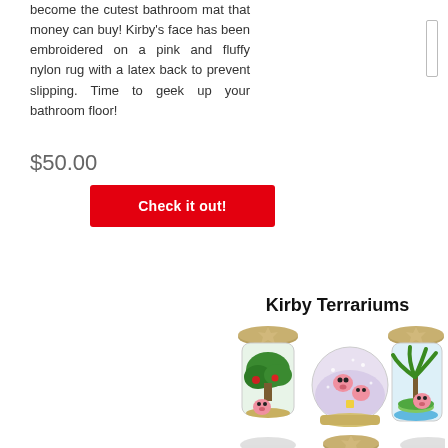become the cutest bathroom mat that money can buy! Kirby's face has been embroidered on a pink and fluffy nylon rug with a latex back to prevent slipping. Time to geek up your bathroom floor!
$50.00
Check it out!
Kirby Terrariums
[Figure (photo): Three Kirby terrarium jars with gold star-shaped lids. Left jar has a green tree with Kirby at its base, center jar is a snow globe style with Kirby figures, right jar has a palm tree on a small island with Kirby. Below are partially visible additional terrarium jars.]